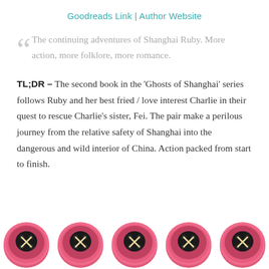Goodreads Link | Author Website
The continuing adventures of Shanghai Ruby. More action, more folklore, more romance.
TL;DR – The second book in the 'Ghosts of Shanghai' series follows Ruby and her best fried / love interest Charlie in their quest to rescue Charlie's sister, Fei. The pair make a perilous journey from the relative safety of Shanghai into the dangerous and wild interior of China. Action packed from start to finish.
[Figure (illustration): Five pink button emojis/icons in a row along the bottom of the page, each showing a round pink button with a black center and cream/yellow X cross-stitch pattern.]